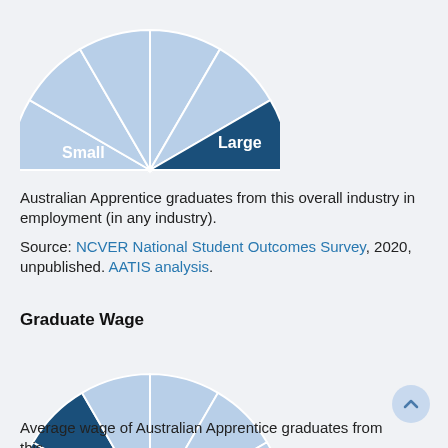[Figure (infographic): Semi-circular gauge/dial chart showing employment size. 'Small' label on left (light blue), 'Large' label on right (dark navy blue, highlighted sector). Multiple equal segments radiating from center bottom.]
Australian Apprentice graduates from this overall industry in employment (in any industry).
Source: NCVER National Student Outcomes Survey, 2020, unpublished. AATIS analysis.
Graduate Wage
[Figure (infographic): Semi-circular gauge/dial chart showing wage level. 'Low' label on left (dark navy blue, highlighted sector), 'High' label on right (light blue). Multiple equal segments radiating from center bottom.]
Average wage of Australian Apprentice graduates from this